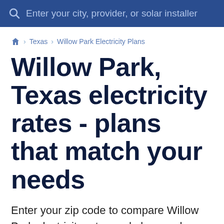Enter your city, provider, or solar installer
🏠 › Texas › Willow Park Electricity Plans
Willow Park, Texas electricity rates - plans that match your needs
Enter your zip code to compare Willow Park electricity rates and plans and see available electric companies.